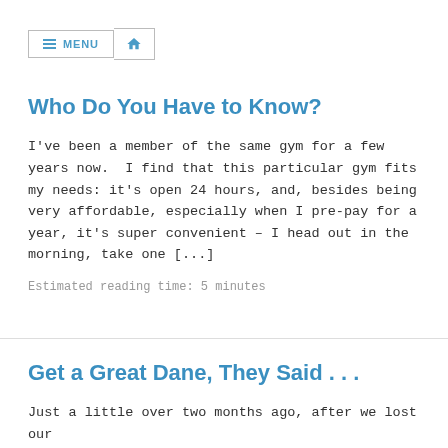≡ MENU  🏠
Who Do You Have to Know?
I've been a member of the same gym for a few years now. I find that this particular gym fits my needs: it's open 24 hours, and, besides being very affordable, especially when I pre-pay for a year, it's super convenient – I head out in the morning, take one [...]
Estimated reading time: 5 minutes
Get a Great Dane, They Said . . .
Just a little over two months ago, after we lost our